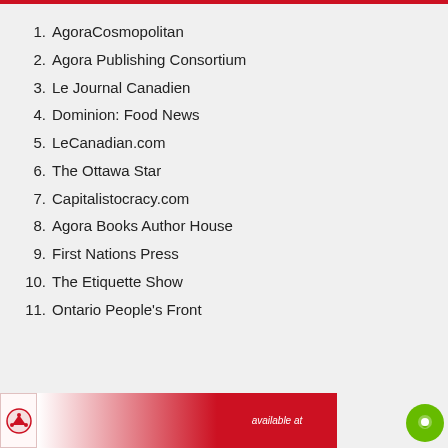1. AgoraCosmopolitan
2. Agora Publishing Consortium
3. Le Journal Canadien
4. Dominion: Food News
5. LeCanadian.com
6. The Ottawa Star
7. Capitalistocracy.com
8. Agora Books Author House
9. First Nations Press
10. The Etiquette Show
11. Ontario People's Front
[Figure (other): Bottom banner with logo and 'available at' text]